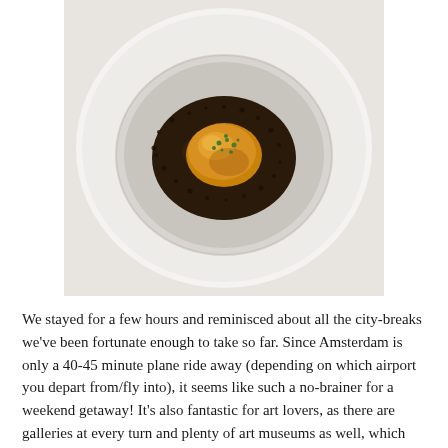[Figure (photo): Top-down view of a white ceramic bowl containing a single piece of food (possibly a dumpling or scallop) in a dark sauce, garnished with green herbs.]
We stayed for a few hours and reminisced about all the city-breaks we've been fortunate enough to take so far. Since Amsterdam is only a 40-45 minute plane ride away (depending on which airport you depart from/fly into), it seems like such a no-brainer for a weekend getaway! It's also fantastic for art lovers, as there are galleries at every turn and plenty of art museums as well, which we didn't manage to visit on this trip.